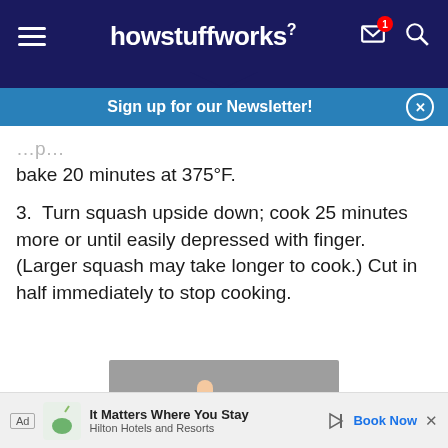howstuffworks
Sign up for our Newsletter!
bake 20 minutes at 375°F.
3. Turn squash upside down; cook 25 minutes more or until easily depressed with finger. (Larger squash may take longer to cook.) Cut in half immediately to stop cooking.
[Figure (photo): A hand pressing down on a squash placed on a foil-lined baking tray]
Ad — It Matters Where You Stay. Hilton Hotels and Resorts. Book Now.